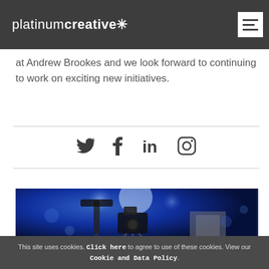platinumcreative*
at Andrew Brookes and we look forward to continuing to work on exciting new initiatives.
[Figure (other): Social media icons: Twitter, Facebook, LinkedIn, Instagram, between two horizontal divider lines]
[Figure (photo): Dark blue-toned photograph of camera equipment and lighting at an event or studio]
This site uses cookies. Click here to agree to use of these cookies. View our Cookie and Data Policy.